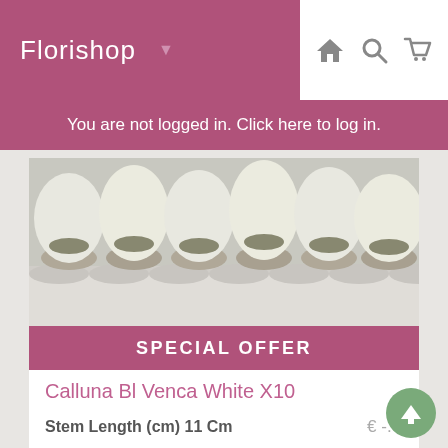Florishop
You are not logged in. Click here to log in.
[Figure (photo): Photo of white flowering plants (Calluna) arranged in pots on a white shelf display]
SPECIAL OFFER
Calluna Bl Venca White X10
Stem Length (cm) 11 Cm   € -.--
[Figure (photo): Photo of red and yellow pepper/chili plants with a measurement ruler showing 20 cm mark]